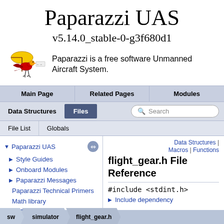Paparazzi UAS
v5.14.0_stable-0-g3f680d1
Paparazzi is a free software Unmanned Aircraft System.
Main Page | Related Pages | Modules
Data Structures | Files | Search
File List | Globals
Paparazzi UAS
Style Guides
Onboard Modules
Paparazzi Messages
Paparazzi Technical Primers
Math library
CATIA
Data Structures | Macros | Functions
flight_gear.h File Reference
#include <stdint.h>
Include dependency
sw   simulator   flight_gear.h